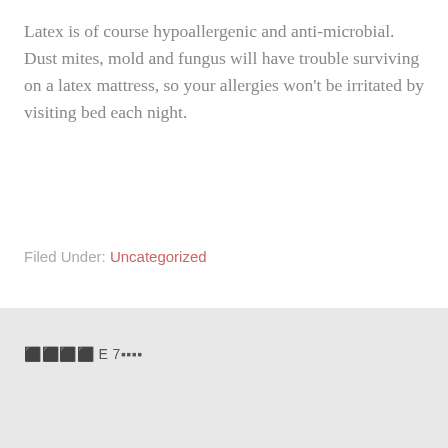Latex is of course hypoallergenic and anti-microbial. Dust mites, mold and fungus will have trouble surviving on a latex mattress, so your allergies won't be irritated by visiting bed each night.
Filed Under: Uncategorized
⬛⬛⬛⬛ E 7▪▪▪▪